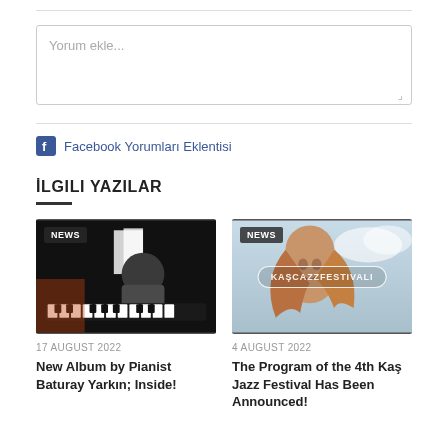Yorum ekle...
Facebook Yorumları Eklentisi
İLGILI YAZILAR
[Figure (photo): Man playing piano in studio, NEWS badge top-left]
17 AUGUST 2022
New Album by Pianist Baturay Yarkın; Inside!
[Figure (photo): Woman with hair blowing, KAS CAZZFESTIVALI badge, NEWS badge top-left]
4 AUGUST 2022
The Program of the 4th Kaş Jazz Festival Has Been Announced!